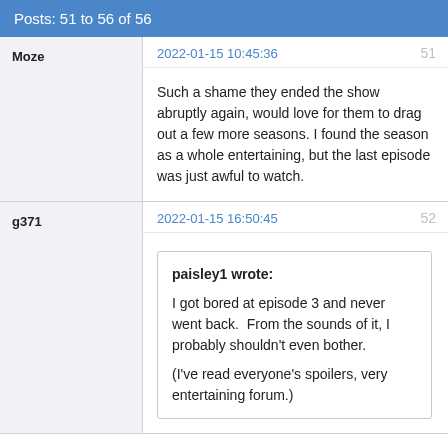Posts: 51 to 56 of 56
Moze
2022-01-15 10:45:36
51
Such a shame they ended the show abruptly again, would love for them to drag out a few more seasons. I found the season as a whole entertaining, but the last episode was just awful to watch.
g371
2022-01-15 16:50:45
52
paisley1 wrote:
I got bored at episode 3 and never went back.  From the sounds of it, I probably shouldn't even bother.
(I've read everyone's spoilers, very entertaining forum.)